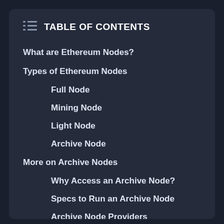TABLE OF CONTENTS
What are Ethereum Nodes?
Types of Ethereum Nodes
Full Node
Mining Node
Light Node
Archive Node
More on Archive Nodes
Why Access an Archive Node?
Specs to Run an Archive Node
Archive Node Providers